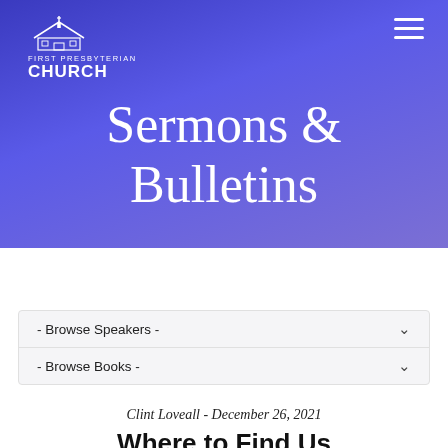[Figure (logo): First Presbyterian Church logo: church building silhouette above text FIRST PRESBYTERIAN CHURCH in white on purple background]
Sermons & Bulletins
- Browse Speakers -
- Browse Books -
Clint Loveall - December 26, 2021
Where to Find Us